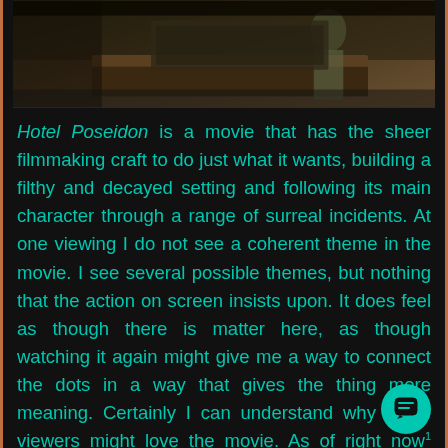[Figure (photo): A dark, moody photograph showing what appears to be an interior scene with muted brown and dark tones, possibly showing a person in a decayed or gloomy hotel setting.]
Hotel Poseidon is a movie that has the sheer filmmaking craft to do just what it wants, building a filthy and decayed setting and following its main character through a range of surreal incidents. At one viewing I do not see a coherent theme in the movie. I see several possible themes, but nothing that the action on screen insists upon. It does feel as though there is matter here, as though watching it again might give me a way to connect the dots in a way that gives the thing more meaning. Certainly I can understand why some viewers might love the movie. As of right now though, I can't feel it.